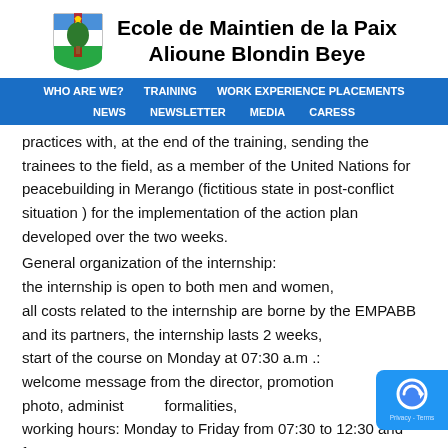[Figure (logo): Ecole de Maintien de la Paix Alioune Blondin Beye institutional logo with shield emblem and tree]
Ecole de Maintien de la Paix Alioune Blondin Beye
WHO ARE WE? | TRAINING | WORK EXPERIENCE PLACEMENTS | NEWS | NEWSLETTER | MEDIA | CARESS
practices with, at the end of the training, sending the trainees to the field, as a member of the United Nations for peacebuilding in Merango (fictitious state in post-conflict situation ) for the implementation of the action plan developed over the two weeks.
General organization of the internship:
the internship is open to both men and women,
all costs related to the internship are borne by the EMPABB and its partners, the internship lasts 2 weeks,
start of the course on Monday at 07:30 a.m .: welcome message from the director, promotion photo, administrative formalities,
working hours: Monday to Friday from 07:30 to 12:30 and from